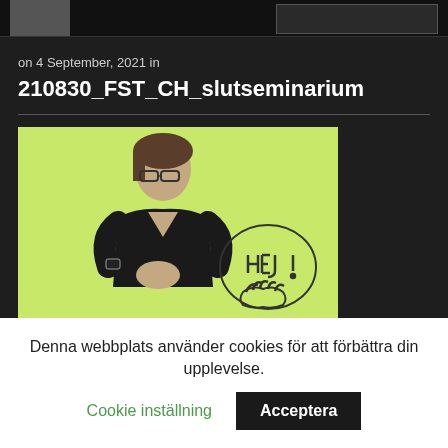on 4 September, 2021 in
210830_FST_CH_slutseminarium
[Figure (screenshot): Video thumbnail showing a person in a black shirt signing in Swedish Sign Language against a lime-green background, with a hand-drawn 'HEJ' logo on the right side]
Denna webbplats använder cookies för att förbättra din upplevelse.
Cookie inställning
Acceptera